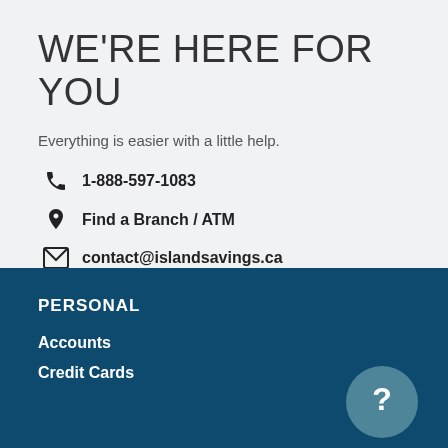WE'RE HERE FOR YOU
Everything is easier with a little help.
1-888-597-1083
Find a Branch / ATM
contact@islandsavings.ca
PERSONAL
Accounts
Credit Cards